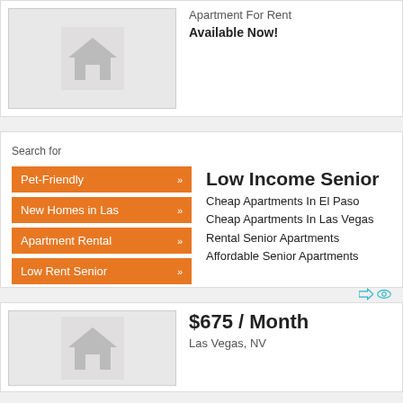[Figure (illustration): Apartment listing card with a grey placeholder image containing a house icon]
Apartment For Rent
Available Now!
Search for
Pet-Friendly »
New Homes in Las »
Apartment Rental »
Low Rent Senior »
Low Income Senior
Cheap Apartments In El Paso
Cheap Apartments In Las Vegas
Rental Senior Apartments
Affordable Senior Apartments
[Figure (illustration): Apartment listing card with a grey placeholder image containing a house icon, price $675 / Month, Las Vegas, NV]